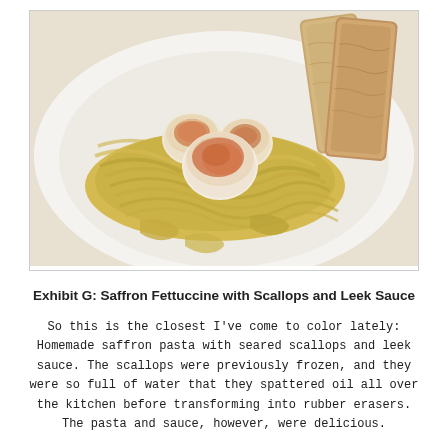[Figure (photo): A white plate with saffron fettuccine pasta topped with seared scallops with golden-brown and red-orange crusts, and two pieces of toasted bread leaning against the food.]
Exhibit G: Saffron Fettuccine with Scallops and Leek Sauce
So this is the closest I've come to color lately: Homemade saffron pasta with seared scallops and leek sauce. The scallops were previously frozen, and they were so full of water that they spattered oil all over the kitchen before transforming into rubber erasers. The pasta and sauce, however, were delicious.